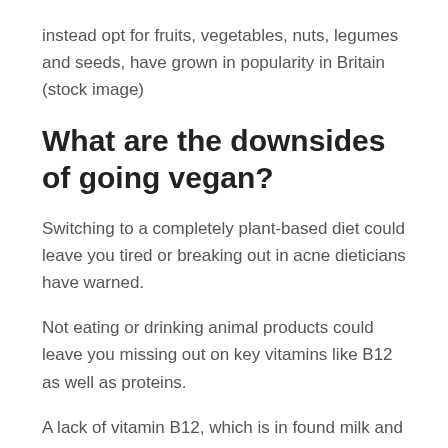instead opt for fruits, vegetables, nuts, legumes and seeds, have grown in popularity in Britain (stock image)
What are the downsides of going vegan?
Switching to a completely plant-based diet could leave you tired or breaking out in acne dieticians have warned.
Not eating or drinking animal products could leave you missing out on key vitamins like B12 as well as proteins.
A lack of vitamin B12, which is in found milk and eggs, can lead to fatigue or tiredness and negatively impact your mental health.
Vitamin D is another nutrient found mainly in animal products, like oily fish, that those on vegan diets can be deficient in.
A vitamin D deficiency can lead to issues with bone development